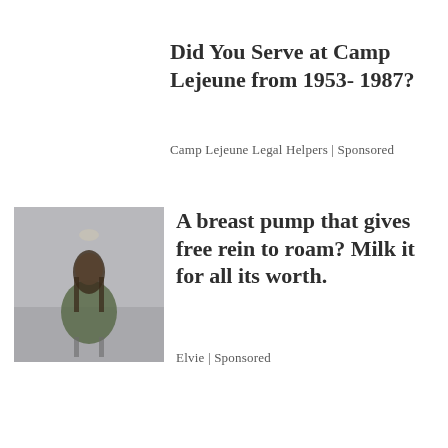Did You Serve at Camp Lejeune from 1953- 1987?
Camp Lejeune Legal Helpers | Sponsored
[Figure (photo): A woman sitting on a chair in a grey-toned room, wearing a green cardigan, with long dark hair]
A breast pump that gives free rein to roam? Milk it for all its worth.
Elvie | Sponsored